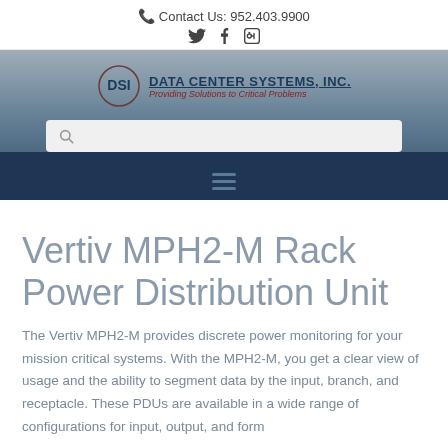Contact Us: 952.403.9900
[Figure (logo): Data Center Systems, Inc. logo with circle DSI emblem and tagline 'Providing Solutions to Critical Problems']
Vertiv MPH2-M Rack Power Distribution Unit
The Vertiv MPH2-M provides discrete power monitoring for your mission critical systems. With the MPH2-M, you get a clear view of usage and the ability to segment data by the input, branch, and receptacle. These PDUs are available in a wide range of configurations for input, output, and form